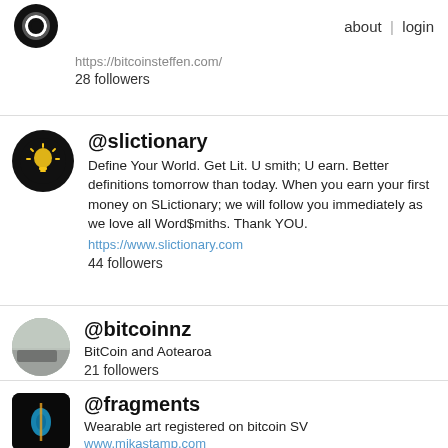about | login
https://bitcoinsteffen.com/
28 followers
@slictionary
Define Your World. Get Lit. U smith; U earn. Better definitions tomorrow than today. When you earn your first money on SLictionary; we will follow you immediately as we love all Word$miths. Thank YOU.
https://www.slictionary.com
44 followers
@bitcoinnz
BitCoin and Aotearoa
21 followers
@fragments
Wearable art registered on bitcoin SV
www.mikastamp.com
13 followers